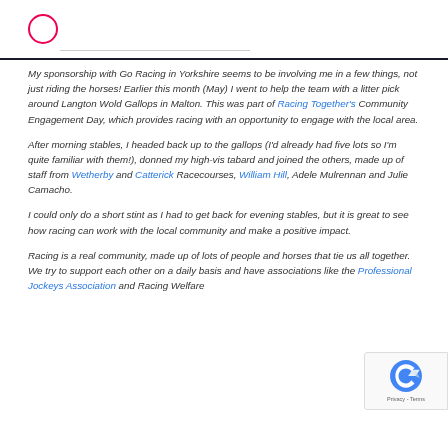My sponsorship with Go Racing in Yorkshire seems to be involving me in a few things, not just riding the horses! Earlier this month (May) I went to help the team with a litter pick around Langton Wold Gallops in Malton. This was part of Racing Together's Community Engagement Day, which provides racing with an opportunity to engage with the local area.
After morning stables, I headed back up to the gallops (I'd already had five lots so I'm quite familiar with them!), donned my high-vis tabard and joined the others, made up of staff from Wetherby and Catterick Racecourses, William Hill, Adele Mulrennan and Julie Camacho.
I could only do a short stint as I had to get back for evening stables, but it is great to see how racing can work with the local community and make a positive impact.
Racing is a real community, made up of lots of people and horses that tie us all together. We try to support each other on a daily basis and have associations like the Professional Jockeys Association and Racing Welfare